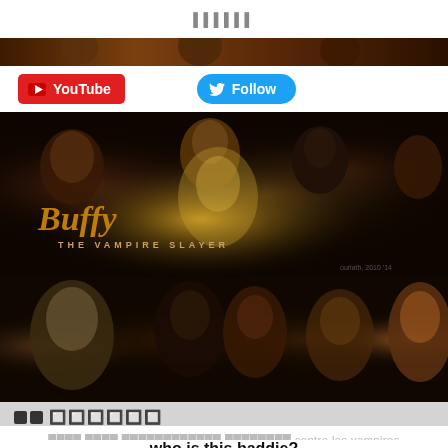[Figure (photo): Top partial image strip showing dark fantasy characters from Buffy the Vampire Slayer]
[Figure (illustration): YouTube subscription button (red) and Twitter Follow button (blue)]
[Figure (photo): Buffy the Vampire Slayer promotional artwork with golden glowing title text over dark background with multiple characters]
[Figure (photo): Second Buffy the Vampire Slayer fan art image showing characters including Spike and Buffy on dark background]
🔲🔲 🔲🔲🔲🔲🔲🔲
████ ████ ████████████ ████████ contre les vampires
who is this baddie?